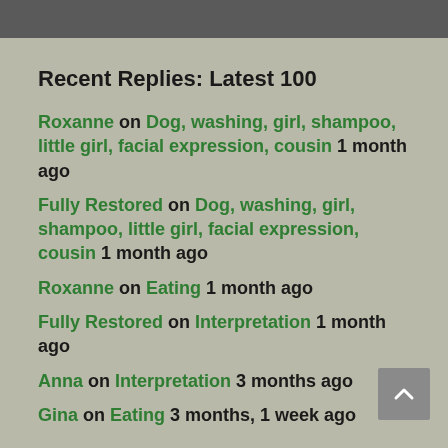Recent Replies: Latest 100
Roxanne on Dog, washing, girl, shampoo, little girl, facial expression, cousin 1 month ago
Fully Restored on Dog, washing, girl, shampoo, little girl, facial expression, cousin 1 month ago
Roxanne on Eating 1 month ago
Fully Restored on Interpretation 1 month ago
Anna on Interpretation 3 months ago
Gina on Eating 3 months, 1 week ago